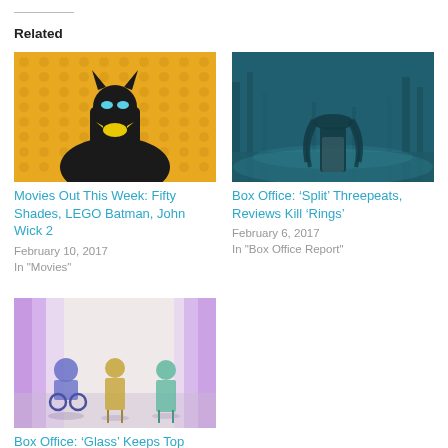Related
[Figure (photo): LEGO Batman figure in yellow background, from The LEGO Batman Movie]
Movies Out This Week: Fifty Shades, LEGO Batman, John Wick 2
February 10, 2017
In "Movies"
[Figure (photo): Horror movie still — long-haired figure in a dark teal forest scene, from Rings]
Box Office: 'Split' Threepeats, Reviews Kill 'Rings'
February 6, 2017
In "Box Office Report"
[Figure (photo): Three figures seated in a bright room with curtains, from Glass]
Box Office: 'Glass' Keeps Top Spot, But 'Upside' is Real Winner